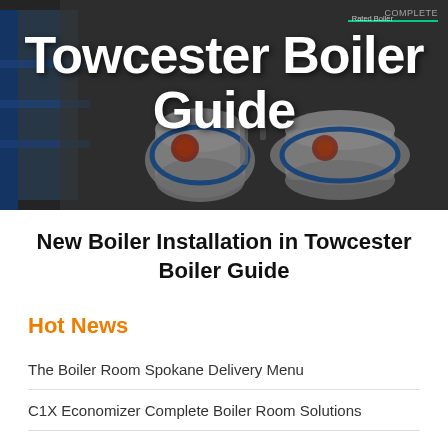[Figure (photo): Hero image showing industrial boilers (cylindrical white boiler units with blue frames) in a facility setting, with dark overlay. Text 'Towcester Boiler Guide' overlaid in large white bold font.]
New Boiler Installation in Towcester Boiler Guide
Hot News
The Boiler Room Spokane Delivery Menu
C1X Economizer Complete Boiler Room Solutions